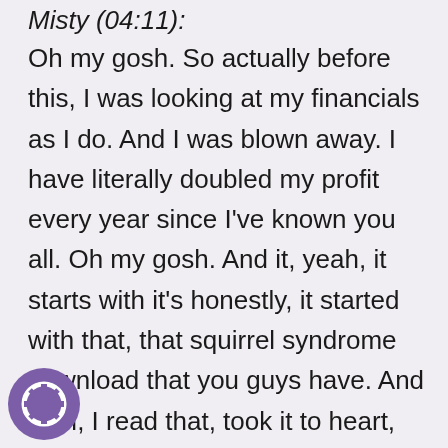Misty (04:11):
Oh my gosh. So actually before this, I was looking at my financials as I do. And I was blown away. I have literally doubled my profit every year since I've known you all. Oh my gosh. And it, yeah, it starts with it's honestly, it started with that, that squirrel syndrome download that you guys have. And I fo l, I read that, took it to heart, working with you all, you all helped explain more in depth, what that really looks like. And then the next step was ay. Start asking why, why, why? And I do
[Figure (logo): Purple circular icon with a lifesaver/help ring symbol in white]